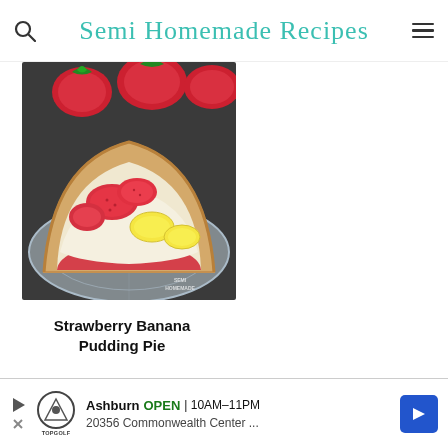Semi Homemade Recipes
[Figure (photo): A slice of strawberry banana pudding pie on a crystal glass plate, topped with fresh sliced strawberries and banana slices, with a creamy filling on a pie crust. Whole strawberries visible in background. Watermark reads SEMI HOMEMADE.]
Strawberry Banana Pudding Pie
Ashburn OPEN 10AM-11PM 20356 Commonwealth Center ...